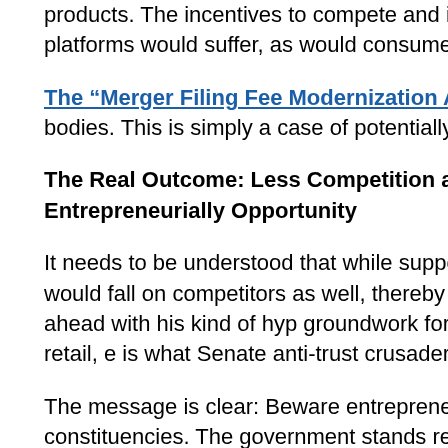products. The incentives to compete and invest in innovation w use such platforms would suffer, as would consumers.
The "Merger Filing Fee Modernization Act" would increase me regulatory bodies. This is simply a case of potentially destructiv receiving additional funding.
The Real Outcome: Less Competition and Innovation, Fewer Ch Entrepreneurially Opportunity
It needs to be understood that while supposedly targeting so-c substantial costs would fall on competitors as well, thereby act markets. For good measure, moving ahead with his kind of hyp groundwork for doing so in other industries, such as in retail, e is what Senate anti-trust crusaders hope to accomplish.
The message is clear: Beware entrepreneurs, businesses and in certain political constituencies. The government stands ready to
It doesn't matter that this entire attack on “Big Tech” is based o negative economic consequences. Political antitrust actions d